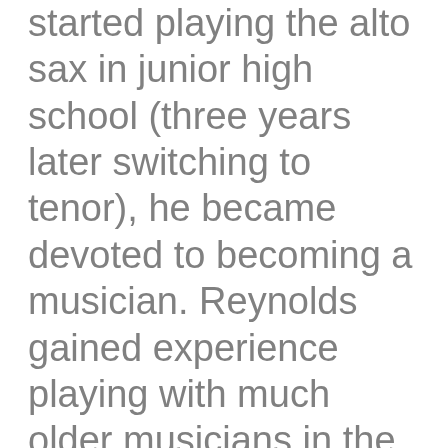started playing the alto sax in junior high school (three years later switching to tenor), he became devoted to becoming a musician. Reynolds gained experience playing with much older musicians in the Beaches Preservation Swing Band, worked locally, and earned a degree from Berklee where he had influential lessons from Hal Crook and George Garzone. After moving to New York he performed in a wide variety of styles with many groups including five years with singer-songwriter Jonah Smith and six on which he toured the world with John Mayer. Bob Reynolds,